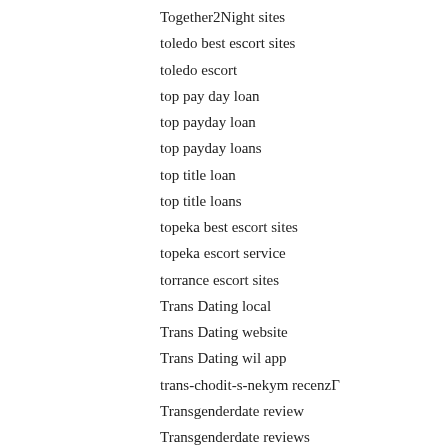Together2Night sites
toledo best escort sites
toledo escort
top pay day loan
top payday loan
top payday loans
top title loan
top title loans
topeka best escort sites
topeka escort service
torrance escort sites
Trans Dating local
Trans Dating website
Trans Dating wil app
trans-chodit-s-nekym recenzГ
Transgenderdate review
Transgenderdate reviews
Travel Dating online